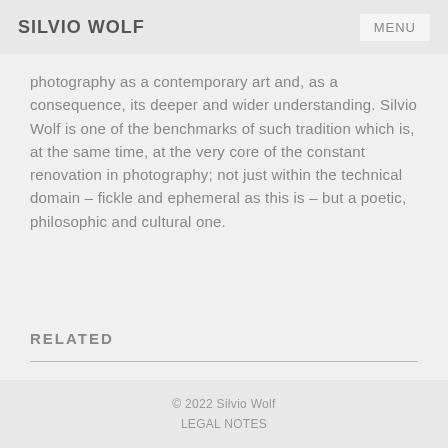SILVIO WOLF  MENU
photography as a contemporary art and, as a consequence, its deeper and wider understanding. Silvio Wolf is one of the benchmarks of such tradition which is, at the same time, at the very core of the constant renovation in photography; not just within the technical domain – fickle and ephemeral as this is – but a poetic, philosophic and cultural one.
RELATED
© 2022 Silvio Wolf
LEGAL NOTES